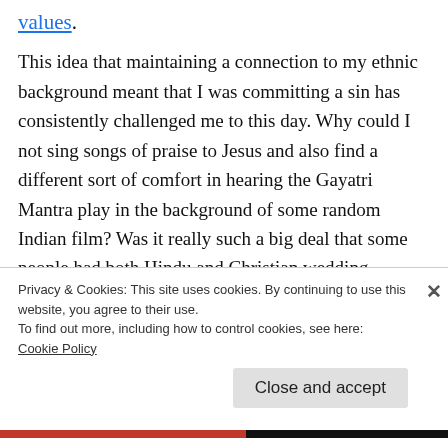values.
This idea that maintaining a connection to my ethnic background meant that I was committing a sin has consistently challenged me to this day. Why could I not sing songs of praise to Jesus and also find a different sort of comfort in hearing the Gayatri Mantra play in the background of some random Indian film? Was it really such a big deal that some people had both Hindu and Christian wedding
Privacy & Cookies: This site uses cookies. By continuing to use this website, you agree to their use.
To find out more, including how to control cookies, see here: Cookie Policy
Close and accept